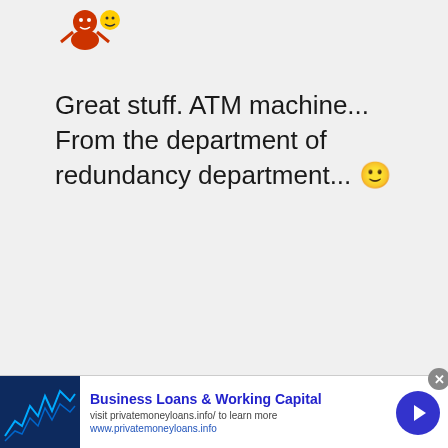[Figure (illustration): Small colorful avatar/character image in top left area]
Great stuff. ATM machine... From the department of redundancy department... 🙂
[Figure (photo): Advertisement banner: Business Loans & Working Capital - visit privatemoneyloans.info/ to learn more - www.privatemoneyloans.info]